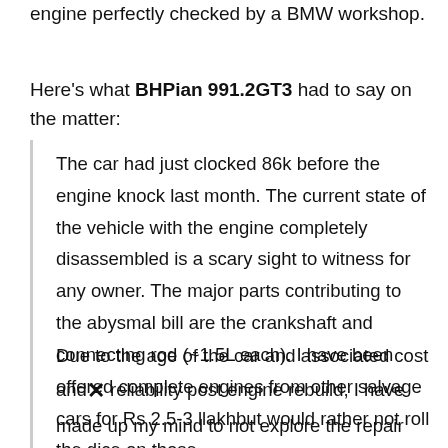engine perfectly checked by a BMW workshop.
Here's what BHPian 991.2GT3 had to say on the matter:
The car had just clocked 86k before the engine knock last month. The current state of the vehicle with the engine completely disassembled is a scary sight to witness for any owner. The major parts contributing to the abysmal bill are the crankshaft and connecting rod (~1.5L each). I have been offered complete engines from other salvage cars for Rs 2.5-3 llakhbut would rather not roll the dice on those.
Due to the age of the car and associated cost and reliability post engine rebuild, I have made up my mind to not explore the repair route as the car's only going to become a money pit going forward. Had the NCR